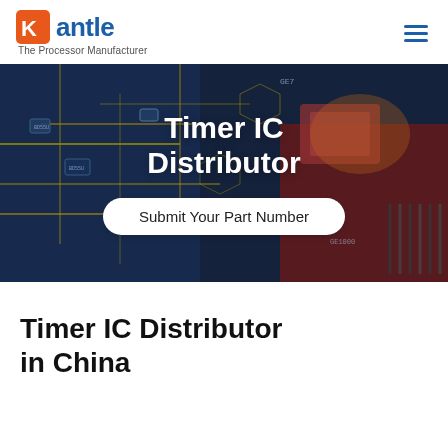Kantle — The Processor Manufacturer
[Figure (photo): Circuit board background hero image with colorful processor traces and chips, overlaid with white bold text 'Timer IC Distributor' and a white pill-shaped button 'Submit Your Part Number']
Timer IC Distributor in China